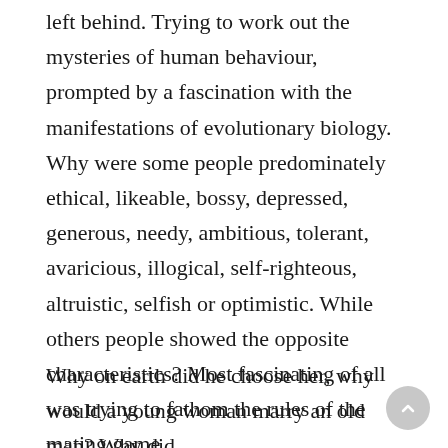left behind. Trying to work out the mysteries of human behaviour, prompted by a fascination with the manifestations of evolutionary biology. Why were some people predominately ethical, likeable, bossy, depressed, generous, needy, ambitious, tolerant, avaricious, illogical, self-righteous, altruistic, selfish or optimistic. While others people showed the opposite characteristics? Most fascinating of all was trying to fathom the rules of the mating game.
Why on earth did he choose her, why would a young woman marry an old man? Why did